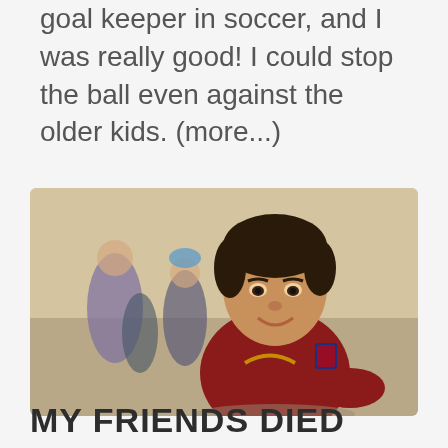goal keeper in soccer, and I was really good! I could stop the ball even against the older kids. (more...)
[Figure (photo): A young boy smiling at the camera, wearing a dark red Portugal soccer jersey with a teal collar and Nike swoosh logo. Behind him are blurred figures of other children and a sandy/concrete background.]
MY FRIENDS DIED